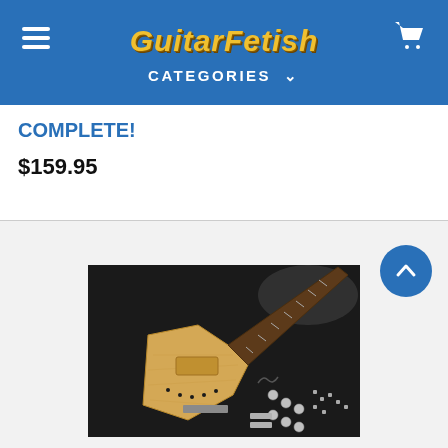GuitarFetish | CATEGORIES
COMPLETE!
$159.95
[Figure (photo): Guitar kit parts laid out on a dark surface: unfinished natural wood electric guitar body (Explorer-style), fretboard/neck, hardware parts including tuning machines, bridge pieces, and other components scattered to the right side.]